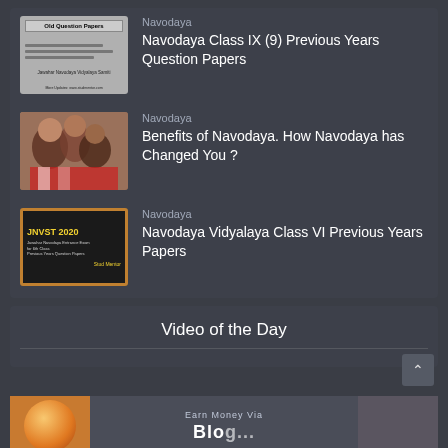Navodaya
Navodaya Class IX (9) Previous Years Question Papers
Navodaya
Benefits of Navodaya. How Navodaya has Changed You ?
Navodaya
Navodaya Vidyalaya Class VI Previous Years Papers
Video of the Day
[Figure (screenshot): Earn Money Via Blog promotional banner with animated character thumbnail]